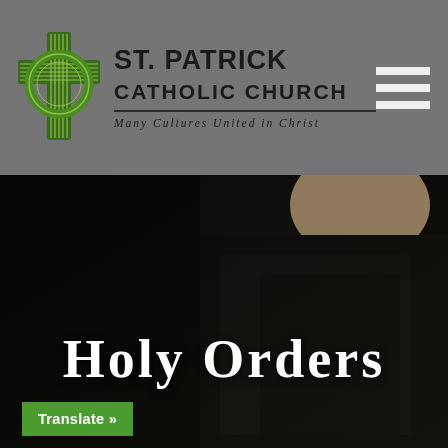ST. PATRICK CATHOLIC CHURCH — Many Cultures United in Christ
[Figure (photo): Dark background hero image showing a priest or person in black clerical attire, with the text 'Holy Orders' overlaid in large white serif font, and a green 'Translate »' button in the bottom left.]
Holy Orders
Translate »